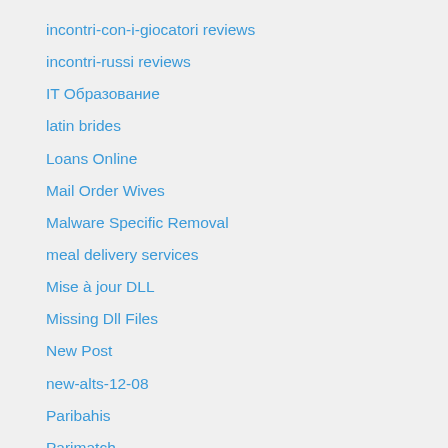incontri-con-i-giocatori reviews
incontri-russi reviews
IT Образование
latin brides
Loans Online
Mail Order Wives
Malware Specific Removal
meal delivery services
Mise à jour DLL
Missing Dll Files
New Post
new-alts-12-08
Paribahis
Parimatch
Payday Loans